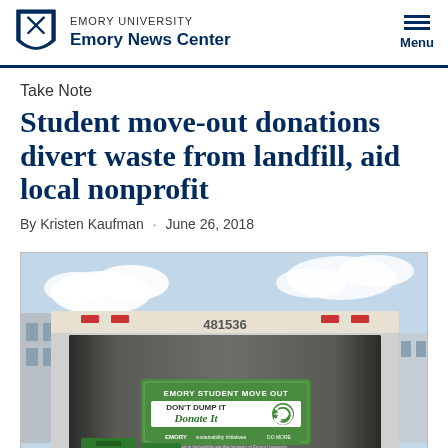EMORY UNIVERSITY Emory News Center
Take Note
Student move-out donations divert waste from landfill, aid local nonprofit
By Kristen Kaufman · June 26, 2018
[Figure (photo): Rear view of an open moving truck with a green banner reading 'EMORY STUDENT MOVE OUT – DON'T DUMP IT – Donate It' with Emory and Sustainability Initiatives logos, parked on campus.]